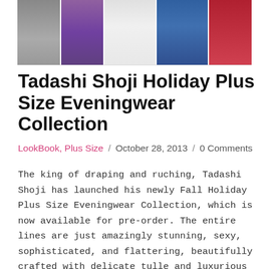[Figure (photo): A horizontal strip showing multiple female models wearing eveningwear in various colors including grey, purple, white, blue, and red/burgundy sequined dresses.]
Tadashi Shoji Holiday Plus Size Eveningwear Collection
LookBook, Plus Size  /  October 28, 2013  /  0 Comments
The king of draping and ruching, Tadashi Shoji has launched his newly Fall Holiday Plus Size Eveningwear Collection, which is now available for pre-order. The entire lines are just amazingly stunning, sexy, sophisticated, and flattering, beautifully crafted with delicate tulle and luxurious lace detailed with...